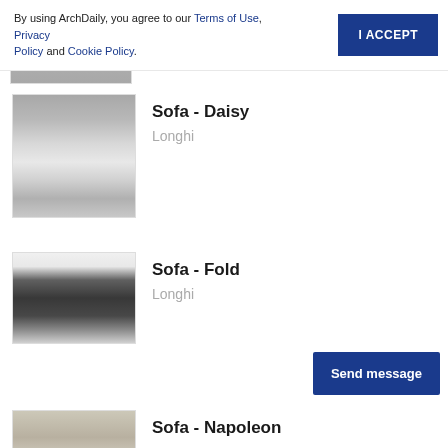By using ArchDaily, you agree to our Terms of Use, Privacy Policy and Cookie Policy.
I ACCEPT
[Figure (photo): Partial view of a sofa or furniture item, cropped at top]
Sofa - Daisy
Longhi
[Figure (photo): Sofa Daisy by Longhi - curved white/cream sofa in front of window with gray curtains]
Sofa - Fold
Longhi
[Figure (photo): Sofa Fold by Longhi - dark gray/charcoal sofa with cushions on white background]
Send message
Sofa - Napoleon
[Figure (photo): Sofa Napoleon - partial view of furniture in a room setting]